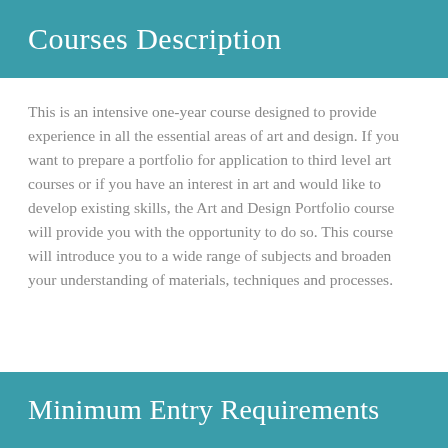Courses Description
This is an intensive one-year course designed to provide experience in all the essential areas of art and design. If you want to prepare a portfolio for application to third level art courses or if you have an interest in art and would like to develop existing skills, the Art and Design Portfolio course will provide you with the opportunity to do so. This course will introduce you to a wide range of subjects and broaden your understanding of materials, techniques and processes.
Minimum Entry Requirements